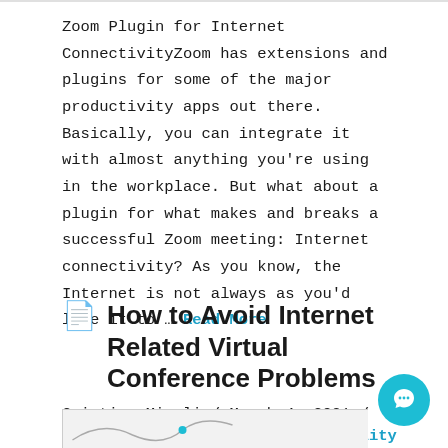Zoom Plugin for Internet ConnectivityZoom has extensions and plugins for some of the major productivity apps out there. Basically, you can integrate it with almost anything you're using in the workplace. But what about a plugin for what makes and breaks a successful Zoom meeting: Internet connectivity? As you know, the Internet is not always as you'd like it to … Read More
How to Avoid Internet Related Virtual Conference Problems
Cristian Miculi / March 4, 2021 /
How To, Improve Internet Reliability
[Figure (illustration): Partial view of an article thumbnail image at the bottom of the page]